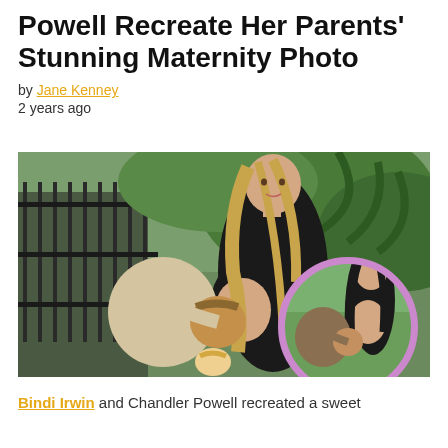Powell Recreate Her Parents' Stunning Maternity Photo
by Jane Kenney
2 years ago
[Figure (photo): Main photo showing a pregnant woman with long blonde hair in a black top, a man kissing her baby bump, and a small child. An inset circular photo in the lower right shows a modern recreation of the same pose with a couple outdoors.]
Bindi Irwin and Chandler Powell recreated a sweet